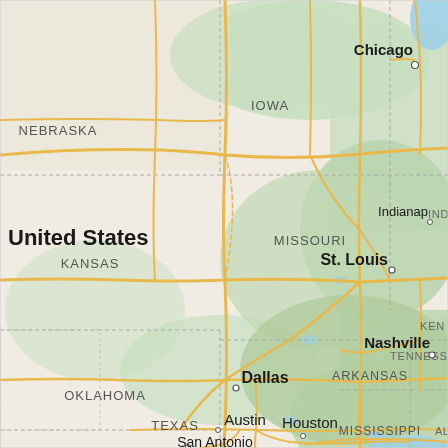[Figure (map): Road map of central United States showing states including Nebraska, Iowa, Kansas, Missouri, Oklahoma, Arkansas, Texas, Illinois, Indiana, Tennessee, Mississippi, Alabama, Kentucky, and Louisiana. Major cities shown include Chicago, Indianapolis, St. Louis, Nashville, Dallas, Austin, Houston, San Antonio. Major highways are shown in yellow/gold lines. State borders shown with dashed lines. The map has a typical Google Maps style with green forested areas and beige/tan open areas.]